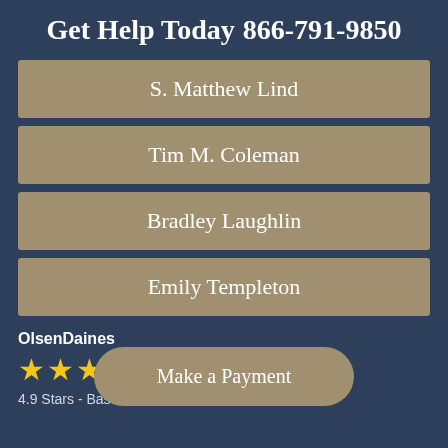Get Help Today  866-791-9850
S. Matthew Lind
Tim M. Coleman
Bradley Laughlin
Emily Templeton
OlsenDaines
[Figure (other): Five gold stars rating]
4.9 Stars - Based on 675 User Reviews
Make a Payment